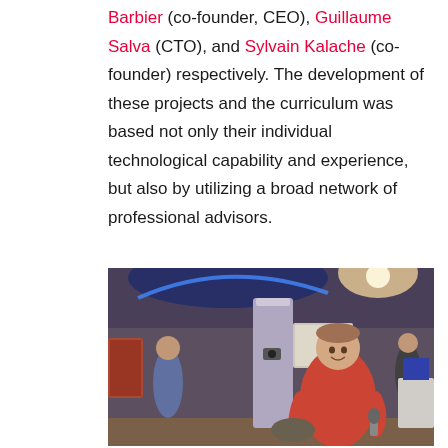Barbier (co-founder, CEO), Guillaume Salva (CTO), and Sylvain Kalache (co-founder) respectively. The development of these projects and the curriculum was based not only their individual technological capability and experience, but also by utilizing a broad network of professional advisors.
[Figure (photo): A man in a red/coral t-shirt speaking into a microphone at an indoor event venue. He is standing in front of a column with blue ambient lighting. Other people and a presentation screen are visible in the background.]